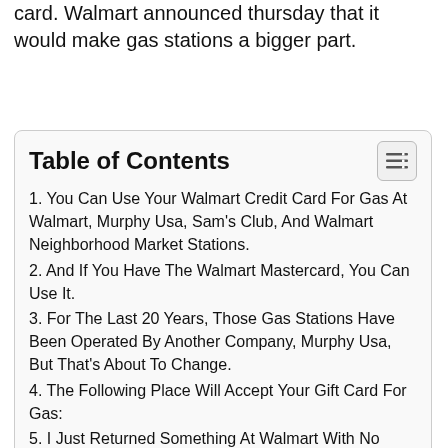card. Walmart announced thursday that it would make gas stations a bigger part.
Table of Contents
1. You Can Use Your Walmart Credit Card For Gas At Walmart, Murphy Usa, Sam's Club, And Walmart Neighborhood Market Stations.
2. And If You Have The Walmart Mastercard, You Can Use It.
3. For The Last 20 Years, Those Gas Stations Have Been Operated By Another Company, Murphy Usa, But That's About To Change.
4. The Following Place Will Accept Your Gift Card For Gas:
5. I Just Returned Something At Walmart With No Receipt So They Gave Me A...